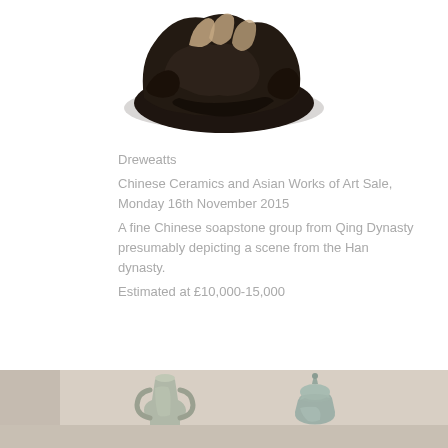[Figure (photo): A dark Chinese soapstone sculptural group, carved with figures among rocks, photographed on white background]
Dreweatts
Chinese Ceramics and Asian Works of Art Sale, Monday 16th November 2015
A fine Chinese soapstone group from Qing Dynasty presumably depicting a scene from the Han dynasty.
Estimated at £10,000-15,000
[Figure (photo): Two grey/celadon ceramic vessels photographed against a neutral background — one a handled ewer and one a lidded vessel]